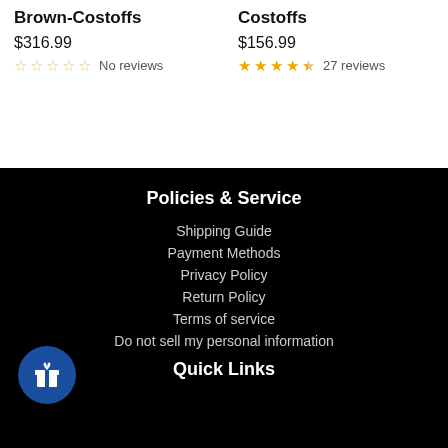Brown-Costoffs
$316.99
No reviews
Costoffs
$156.99
27 reviews
Policies & Service
Shipping Guide
Payment Methods
Privacy Policy
Return Policy
Terms of service
Do not sell my personal information
Quick Links